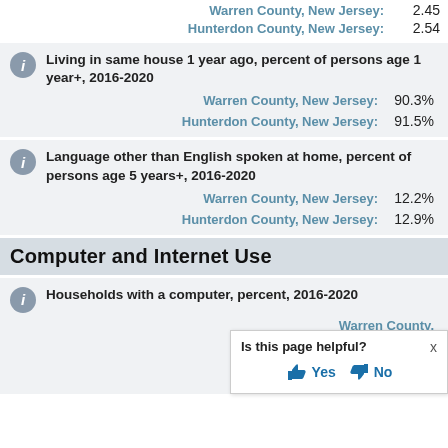Warren County, New Jersey: 2.45
Hunterdon County, New Jersey: 2.54
Living in same house 1 year ago, percent of persons age 1 year+, 2016-2020
Warren County, New Jersey: 90.3%
Hunterdon County, New Jersey: 91.5%
Language other than English spoken at home, percent of persons age 5 years+, 2016-2020
Warren County, New Jersey: 12.2%
Hunterdon County, New Jersey: 12.9%
Computer and Internet Use
Households with a computer, percent, 2016-2020
Warren County,
Hunterdon County,
Is this page helpful? Yes No